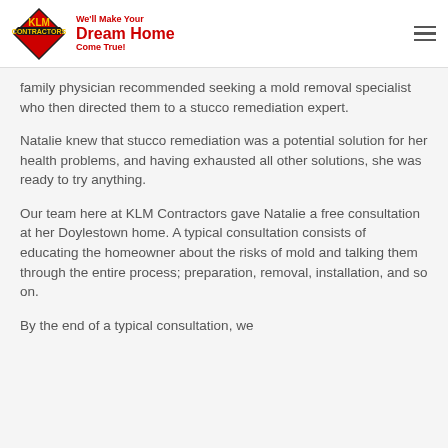KLM Contractors — We'll Make Your Dream Home Come True!
family physician recommended seeking a mold removal specialist who then directed them to a stucco remediation expert.
Natalie knew that stucco remediation was a potential solution for her health problems, and having exhausted all other solutions, she was ready to try anything.
Our team here at KLM Contractors gave Natalie a free consultation at her Doylestown home. A typical consultation consists of educating the homeowner about the risks of mold and talking them through the entire process; preparation, removal, installation, and so on.
By the end of a typical consultation, we